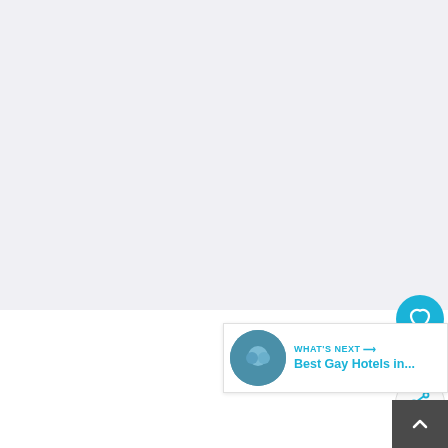[Figure (photo): Large photo area, appears light/white — image of Manchester Gay Village, mostly washed out in this crop]
If you don't head to the Gay Village when you visit Manchester, you are seriously missing out.
The Gay Village centres around Canal Street and most people will use 'Canal Street' or 'the Village'